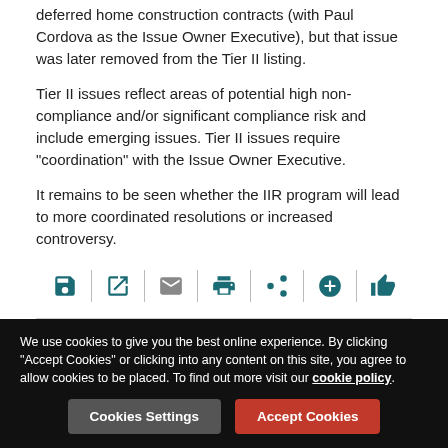deferred home construction contracts (with Paul Cordova as the Issue Owner Executive), but that issue was later removed from the Tier II listing.
Tier II issues reflect areas of potential high non-compliance and/or significant compliance risk and include emerging issues. Tier II issues require "coordination" with the Issue Owner Executive.
It remains to be seen whether the IIR program will lead to more coordinated resolutions or increased controversy.
[Figure (infographic): Row of action icons: save, open/external link, email, print, share, add, thumbs up — separated by vertical dividers]
Filed under
USA | Tax | McDermott Will & Emery
We use cookies to give you the best online experience. By clicking "Accept Cookies" or clicking into any content on this site, you agree to allow cookies to be placed. To find out more visit our cookie policy.
Cookies Settings
Accept Cookies